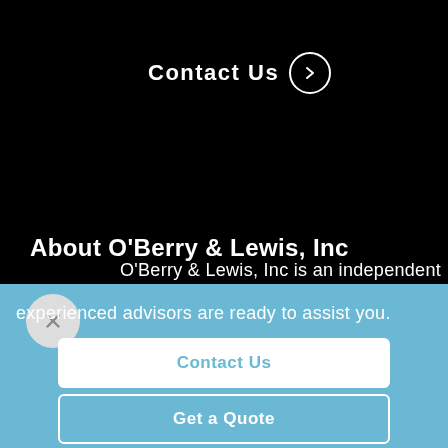Contact Us →
About O'Berry & Lewis, Inc
O'Berry & Lewis, Inc is an independent
experienced advisors are ready to assist you.
Contact Us
Get a Quote